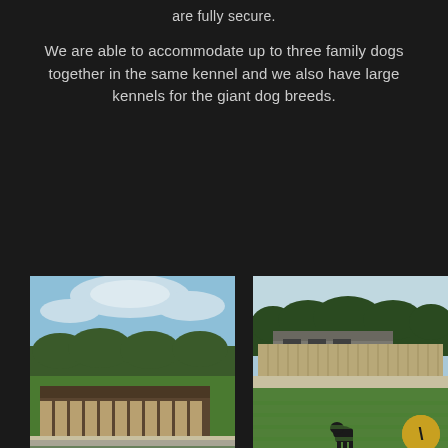are fully secure.
We are able to accommodate up to three family dogs together in the same kennel and we also have large kennels for the giant dog breeds.
[Figure (photo): Outdoor photo of a kennel facility with wooden fencing, green lawn, and trees in the background under a partly cloudy blue sky.]
[Figure (photo): Outdoor photo of a kennel facility with a wooden fence enclosure, green lawn, trees in the background, and a black dog standing in the foreground. A golden navigation arrow button is visible in the bottom right corner.]